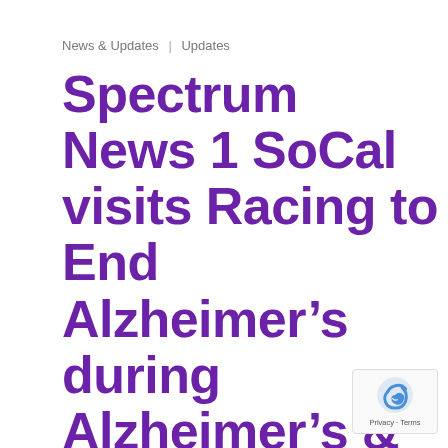News & Updates  |  Updates
Spectrum News 1 SoCal visits Racing to End Alzheimer’s during Alzheimer’s & Brain Awareness Month